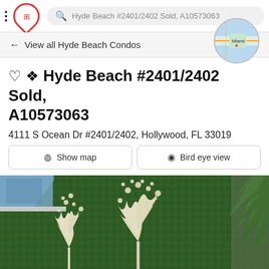Hyde Beach #2401/2402 Sold, A10573063
← View all Hyde Beach Condos
Hyde Beach #2401/2402 Sold, A10573063
4111 S Ocean Dr #2401/2402, Hollywood, FL 33019
Show map
Bird eye view
[Figure (photo): Property exterior photo showing green living wall with white metal tree/flower sculptures and palm tree on right, building corner visible top-left]